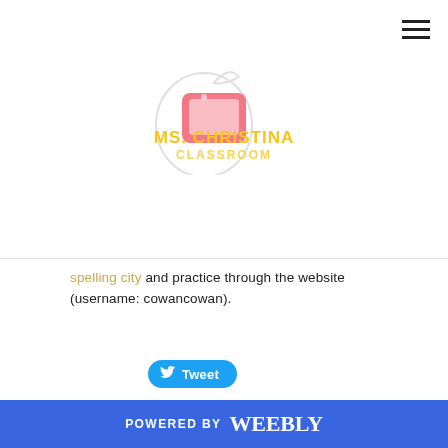[Figure (logo): Ms. Christina Classroom logo with apple and tablet graphic, yellow and red text]
spelling city and practice through the website (username: cowancowan).
[Figure (other): Tweet button with Twitter bird icon]
0 Comments
POWERED BY weebly